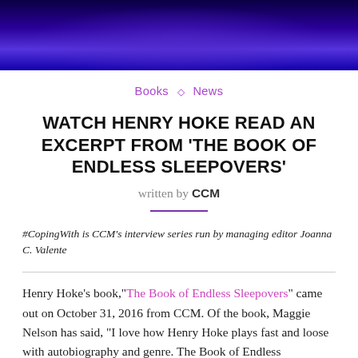[Figure (photo): A dark blue-purple tinted hero image at the top of the article, showing a person or figure in blue/violet lighting]
Books ◇ News
WATCH HENRY HOKE READ AN EXCERPT FROM 'THE BOOK OF ENDLESS SLEEPOVERS'
written by CCM
#CopingWith is CCM's interview series run by managing editor Joanna C. Valente
Henry Hoke's book,"The Book of Endless Sleepovers" came out on October 31, 2016 from CCM. Of the book, Maggie Nelson has said, "I love how Henry Hoke plays fast and loose with autobiography and genre. The Book of Endless Sleepovers is wry and finely-wrought, a philosophical fever